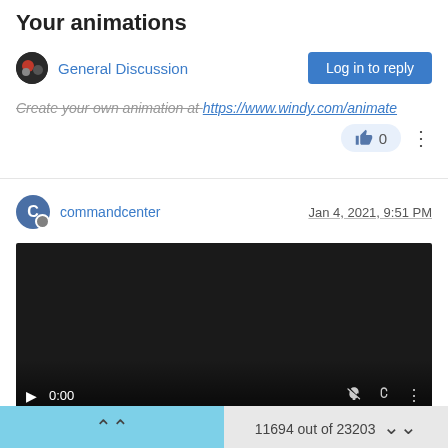Your animations
General Discussion
Log in to reply
Create your own animation at https://www.windy.com/animate
0
commandcenter   Jan 4, 2021, 9:51 PM
[Figure (screenshot): Embedded video player with dark background showing playback controls: play button, 0:00 timestamp, mute icon, fullscreen icon, and a progress bar at the bottom.]
To download this video just click with right mouse button on this link
11694 out of 23203